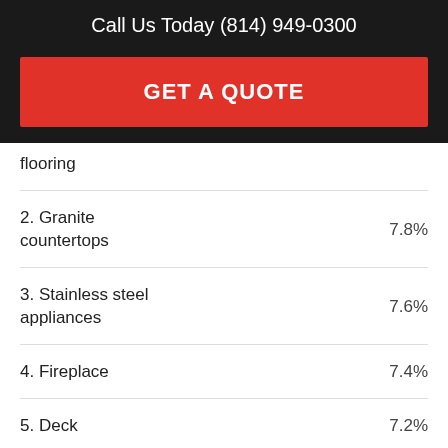Call Us Today (814) 949-0300
GET A QUOTE
flooring
2. Granite countertops
3. Stainless steel appliances
4. Fireplace
5. Deck